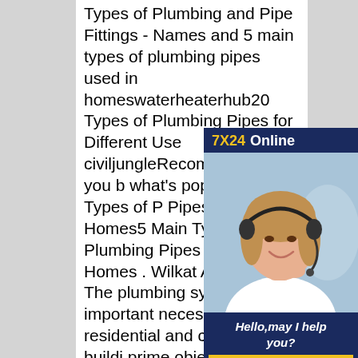Types of Plumbing and Pipe Fittings - Names and 5 main types of plumbing pipes used in homeswaterheaterhub20 Types of Plumbing Pipes for Different Use civiljungleRecommended to you b what's popular 5 Main Types of P Pipes Used in Homes5 Main Type Plumbing Pipes Used in Homes . Wilkat Aug 10, . The plumbing sys the most important necessity for e residential and commercial buildi prime objective of an efficient plu system in a home is to provide an adequate and potable supply of hot and cold water for drinking and other activities 5 main types of plumbing pipes used in homesHow many types of water pipes are there?nThere are five main types of plumbing pipe materials that are still in
[Figure (infographic): Advertisement box with '7X24 Online' header in yellow and white on dark blue background, photo of a woman with headset smiling, and 'Hello,may I help you?' text with a 'Get Latest Price' yellow button at the bottom.]